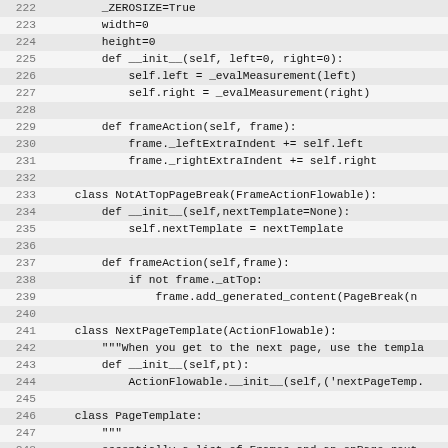Code listing lines 222-253 showing Python class definitions including FrameActionFlowable subclasses, NotAtTopPageBreak, NextPageTemplate, and PageTemplate.